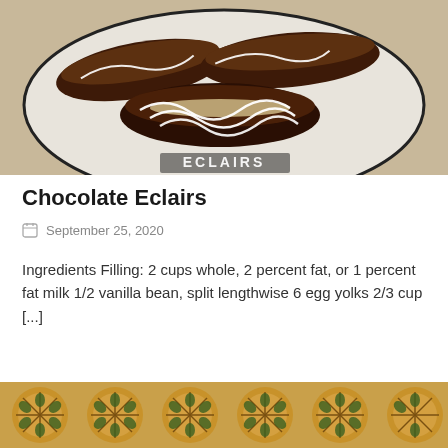[Figure (photo): Chocolate eclairs topped with dark chocolate glaze and white icing drizzle on a plate, with 'ECLAIRS' text overlay at the bottom]
Chocolate Eclairs
September 25, 2020
Ingredients Filling: 2 cups whole, 2 percent fat, or 1 percent fat milk 1/2 vanilla bean, split lengthwise 6 egg yolks 2/3 cup [...]
[Figure (photo): Close-up of decorative flower-shaped bread rolls or pastries with green herb filling, arranged on a surface]